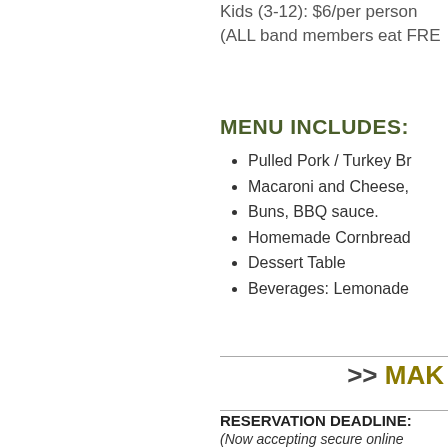Kids (3-12): $6/per person
(ALL band members eat FRE
MENU INCLUDES:
Pulled Pork / Turkey Br
Macaroni and Cheese,
Buns, BBQ sauce.
Homemade Cornbread
Dessert Table
Beverages: Lemonade
>> MAK
RESERVATION DEADLINE:
(Now accepting secure online
You will be prompted for cred
QUESTIONS? NEED MORE
Contact Special Events Coord
Sue Caviness at (614) 264-6